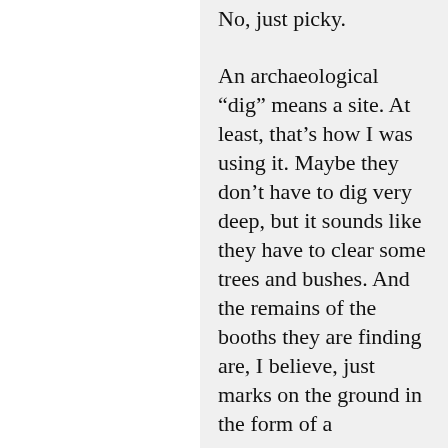No, just picky.
An archaeological “dig” means a site. At least, that’s how I was using it. Maybe they don’t have to dig very deep, but it sounds like they have to clear some trees and bushes. And the remains of the booths they are finding are, I believe, just marks on the ground in the form of a